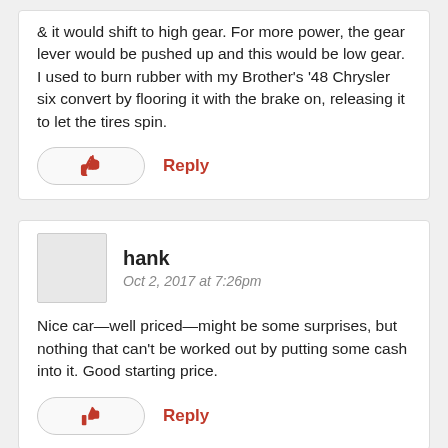& it would shift to high gear. For more power, the gear lever would be pushed up and this would be low gear. I used to burn rubber with my Brother's '48 Chrysler six convert by flooring it with the brake on, releasing it to let the tires spin.
Reply
hank
Oct 2, 2017 at 7:26pm
Nice car—well priced—might be some surprises, but nothing that can't be worked out by putting some cash into it. Good starting price.
Reply